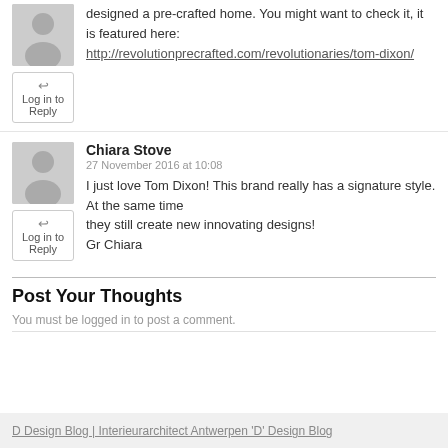designed a pre-crafted home. You might want to check it, it is featured here: http://revolutionprecrafted.com/revolutionaries/tom-dixon/
Log in to Reply
Chiara Stove
27 November 2016 at 10:08
I just love Tom Dixon! This brand really has a signature style. At the same time they still create new innovating designs! Gr Chiara
Log in to Reply
Post Your Thoughts
You must be logged in to post a comment.
D Design Blog | Interieurarchitect Antwerpen 'D' Design Blog